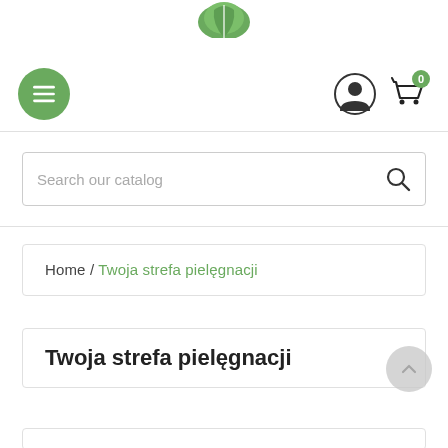[Figure (logo): Green leaf logo at top center]
[Figure (illustration): Navigation bar with green hamburger menu button on left, user profile icon and shopping cart icon with badge showing 0 on right]
Search our catalog
Home / Twoja strefa pielęgnacji
Twoja strefa pielęgnacji